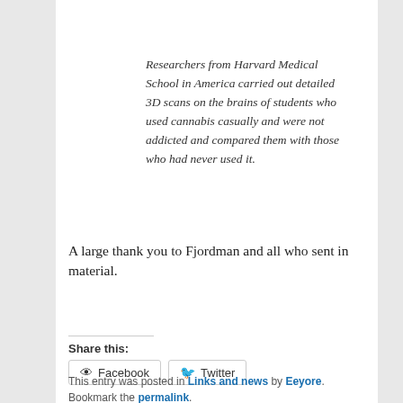Researchers from Harvard Medical School in America carried out detailed 3D scans on the brains of students who used cannabis casually and were not addicted and compared them with those who had never used it.
A large thank you to Fjordman and all who sent in material.
Share this:
Facebook  Twitter
This entry was posted in Links and news by Eeyore. Bookmark the permalink.